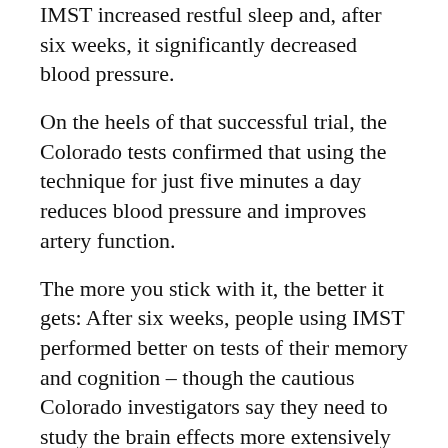IMST increased restful sleep and, after six weeks, it significantly decreased blood pressure.
On the heels of that successful trial, the Colorado tests confirmed that using the technique for just five minutes a day reduces blood pressure and improves artery function.
The more you stick with it, the better it gets: After six weeks, people using IMST performed better on tests of their memory and cognition – though the cautious Colorado investigators say they need to study the brain effects more extensively before they can confirm this result.¹
Breathe Like a Yogi
If you want to go old-school and improve your